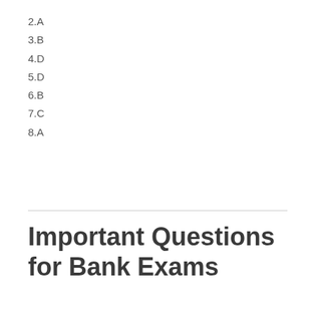2.A
3.B
4.D
5.D
6.B
7.C
8.A
Important Questions for Bank Exams